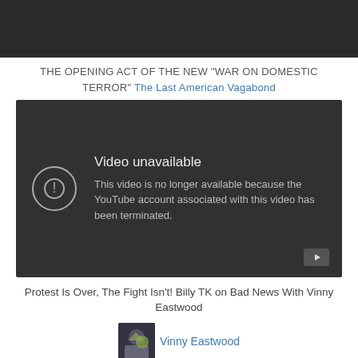[Figure (screenshot): Dark top bar / video thumbnail placeholder]
THE OPENING ACT OF THE NEW “WAR ON DOMESTIC TERROR” The Last American Vagabond
[Figure (screenshot): YouTube video unavailable embed: 'Video unavailable. This video is no longer available because the YouTube account associated with this video has been terminated.']
Protest Is Over, The Fight Isn’t! Billy TK on Bad News With Vinny Eastwood
[Figure (photo): Channel thumbnail for Vinny Eastwood with channel name link]
[Figure (screenshot): Colorful bottom banner strip (red/orange/yellow gradient)]